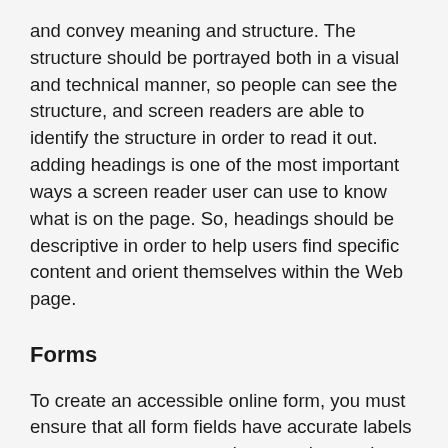and convey meaning and structure. The structure should be portrayed both in a visual and technical manner, so people can see the structure, and screen readers are able to identify the structure in order to read it out. adding headings is one of the most important ways a screen reader user can use to know what is on the page. So, headings should be descriptive in order to help users find specific content and orient themselves within the Web page.
Forms
To create an accessible online form, you must ensure that all form fields have accurate labels or prompt so screen reader users know what each field is asking for. Sighted users should be able to visually associate a text label with its corresponding form control. Users with visual disabilities, however, cannot make